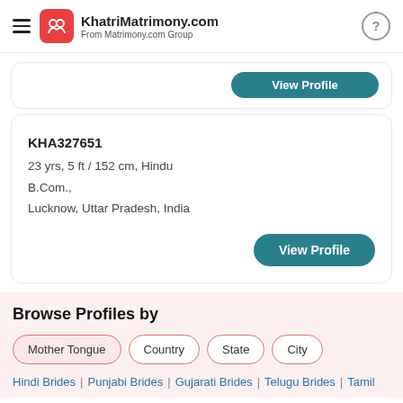KhatriMatrimony.com From Matrimony.com Group
KHA327651
23 yrs, 5 ft / 152 cm, Hindu
B.Com.,
Lucknow, Uttar Pradesh, India
View Profile
Browse Profiles by
Mother Tongue
Country
State
City
Hindi Brides | Punjabi Brides | Gujarati Brides | Telugu Brides | Tamil